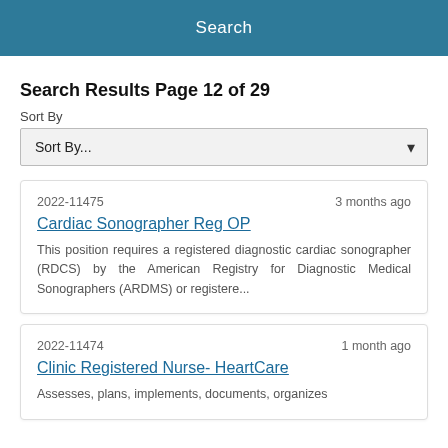Search
Search Results Page 12 of 29
Sort By
Sort By...
2022-11475    3 months ago
Cardiac Sonographer Reg OP
This position requires a registered diagnostic cardiac sonographer (RDCS) by the American Registry for Diagnostic Medical Sonographers (ARDMS) or registere...
2022-11474    1 month ago
Clinic Registered Nurse- HeartCare
Assesses, plans, implements, documents, organizes